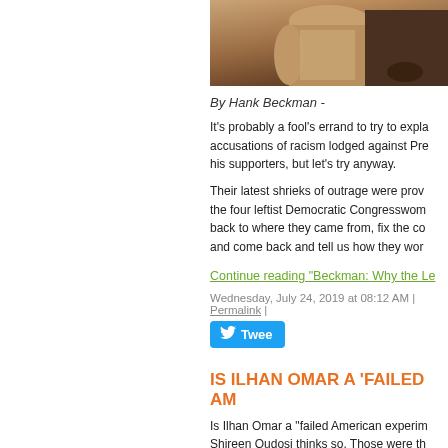[Figure (photo): Partial photo of people, showing torso/clothing in beige and dark clothing]
By Hank Beckman -
It's probably a fool's errand to try to explain the accusations of racism lodged against President Trump by his supporters, but let's try anyway.
Their latest shrieks of outrage were provoked by tweets telling the four leftist Democratic Congresswomen to go back to where they came from, fix the countries there and come back and tell us how they wor
Continue reading "Beckman: Why the Le
Wednesday, July 24, 2019 at 08:12 AM | Permalink |
Tweet
IS ILHAN OMAR A 'FAILED AM
Is Ilhan Omar a "failed American experiment? Shireen Qudosi thinks so. Those were th